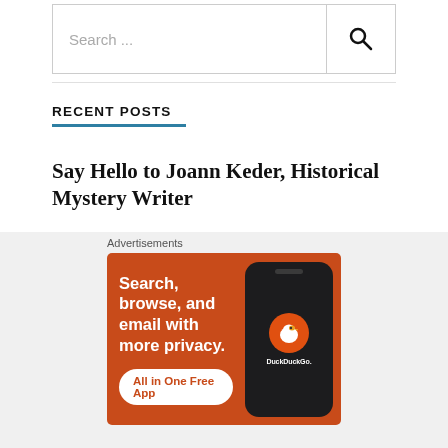[Figure (screenshot): Search input box with placeholder text 'Search ...' and a magnifying glass icon on the right]
RECENT POSTS
Say Hello to Joann Keder, Historical Mystery Writer
Meet Historical Cozy Mystery Author Riana Everly
[Figure (screenshot): DuckDuckGo advertisement banner: 'Search, browse, and email with more privacy. All in One Free App' with phone illustration and DuckDuckGo logo]